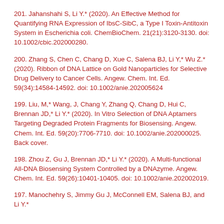201. Jahanshahi S, Li Y.* (2020). An Effective Method for Quantifying RNA Expression of IbsC-SibC, a Type I Toxin-Antitoxin System in Escherichia coli. ChemBioChem. 21(21):3120-3130. doi: 10.1002/cbic.202000280.
200. Zhang S, Chen C, Chang D, Xue C, Salena BJ, Li Y,* Wu Z.* (2020). Ribbon of DNA Lattice on Gold Nanoparticles for Selective Drug Delivery to Cancer Cells. Angew. Chem. Int. Ed. 59(34):14584-14592. doi: 10.1002/anie.202005624
199. Liu, M,* Wang, J, Chang Y, Zhang Q, Chang D, Hui C, Brennan JD,* Li Y.* (2020). In Vitro Selection of DNA Aptamers Targeting Degraded Protein Fragments for Biosensing. Angew. Chem. Int. Ed. 59(20):7706-7710. doi: 10.1002/anie.202000025. Back cover.
198. Zhou Z, Gu J, Brennan JD,* Li Y.* (2020). A Multi-functional All-DNA Biosensing System Controlled by a DNAzyme. Angew. Chem. Int. Ed. 59(26):10401-10405. doi: 10.1002/anie.202002019.
197. Manochehry S, Jimmy Gu J, McConnell EM, Salena BJ, and Li Y.*